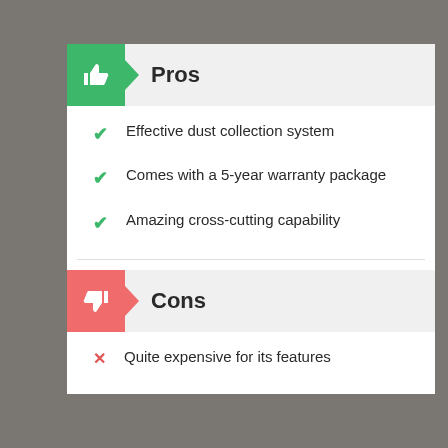Pros
Effective dust collection system
Comes with a 5-year warranty package
Amazing cross-cutting capability
Cons
Quite expensive for its features